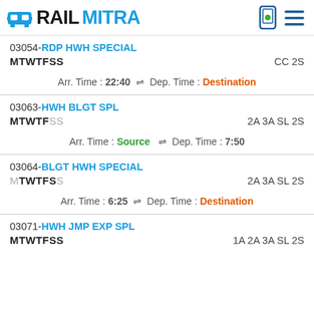RAILMITRA
03054-RDP HWH SPECIAL | MTWTFSS | CC 2S | Arr. Time: 22:40 | Dep. Time: Destination
03063-HWH BLGT SPL | MTWTFSS | 2A 3A SL 2S | Arr. Time: Source | Dep. Time: 7:50
03064-BLGT HWH SPECIAL | MTWTFSS | 2A 3A SL 2S | Arr. Time: 6:25 | Dep. Time: Destination
03071-HWH JMP EXP SPL | MTWTFSS | 1A 2A 3A SL 2S